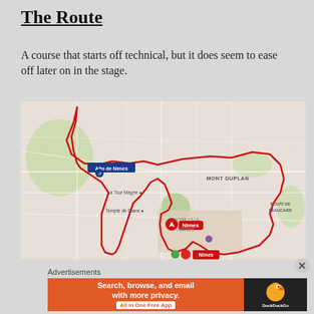The Route
A course that starts off technical, but it does seem to ease off later on in the stage.
[Figure (map): A street map of Nimes, France showing a cycling route traced in red. The route forms a large irregular loop around the city. Key labels include 'Alto de Nimes' with a blue marker in the upper-left area, 'MONT DUPLAN' in the upper-right, 'La Tour Magne' in the middle-left, 'Temple de Diane' below that, 'Nimes' city center label with red and play-button markers, 'NOTRE VILLE', and 'ROUTE DE BEAUCAIRE' on the right side. The route is marked in red lines tracing through various streets.]
Advertisements
[Figure (other): Advertisement banner for DuckDuckGo: orange left panel reading 'Search, browse, and email with more privacy. All in One Free App' and black right panel with DuckDuckGo duck logo and brand name.]